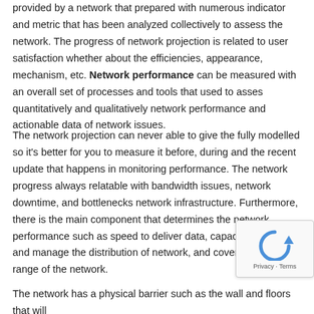provided by a network that prepared with numerous indicator and metric that has been analyzed collectively to assess the network. The progress of network projection is related to user satisfaction whether about the efficiencies, appearance, mechanism, etc. Network performance can be measured with an overall set of processes and tools that used to asses quantitatively and qualitatively network performance and actionable data of network issues.
The network projection can never able to give the fully modelled so it's better for you to measure it before, during and the recent update that happens in monitoring performance. The network progress always relatable with bandwidth issues, network downtime, and bottlenecks network infrastructure. Furthermore, there is the main component that determines the network performance such as speed to deliver data, capacity to contain and manage the distribution of network, and coverage is the range of the network.
The network has a physical barrier such as the wall and floors that will